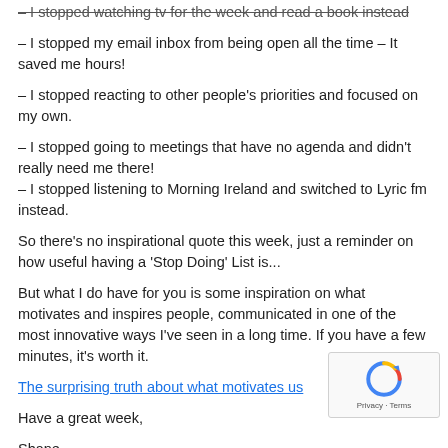– I stopped watching tv for the week and read a book instead
– I stopped my email inbox from being open all the time – It saved me hours!
– I stopped reacting to other people's priorities and focused on my own.
– I stopped going to meetings that have no agenda and didn't really need me there!
– I stopped listening to Morning Ireland and switched to Lyric fm instead.
So there's no inspirational quote this week, just a reminder on how useful having a 'Stop Doing' List is...
But what I do have for you is some inspiration on what motivates and inspires people, communicated in one of the most innovative ways I've seen in a long time. If you have a few minutes, it's worth it.
The surprising truth about what motivates us
Have a great week,
Shane